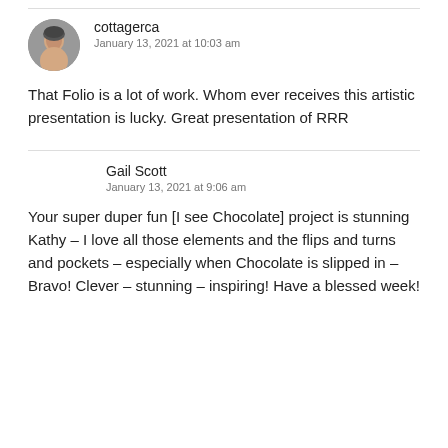cottagerca
January 13, 2021 at 10:03 am
That Folio is a lot of work. Whom ever receives this artistic presentation is lucky. Great presentation of RRR
Gail Scott
January 13, 2021 at 9:06 am
Your super duper fun [I see Chocolate] project is stunning Kathy – I love all those elements and the flips and turns and pockets – especially when Chocolate is slipped in – Bravo! Clever – stunning – inspiring! Have a blessed week!